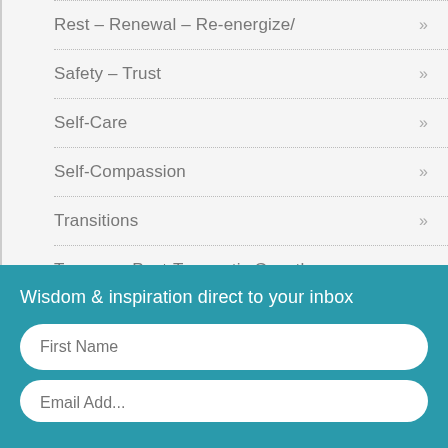Rest – Renewal – Re-energize/
Safety – Trust
Self-Care
Self-Compassion
Transitions
Trauma – Post-Traumatic Growth
Wisdom & inspiration direct to your inbox
First Name
Email Add...